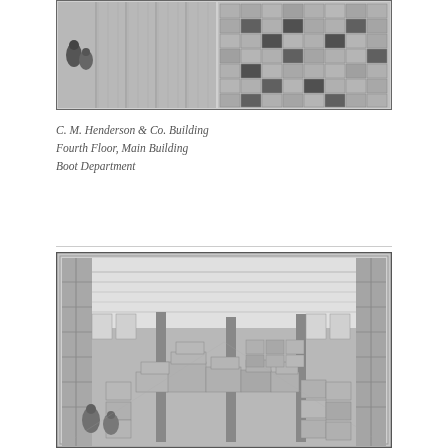[Figure (photo): Black and white illustration/photograph of the C. M. Henderson & Co. Building, Fourth Floor, Main Building, Boot Department. Shows tall shelving units with stacked boxes and workers in the foreground.]
C. M. Henderson & Co. Building
Fourth Floor, Main Building
Boot Department
[Figure (photo): Black and white illustration of a large warehouse floor (Boot Department) with boxes and stacked goods filling the space, workers visible in the foreground, long rows of shelving along the walls, skylights or windows along the sides.]